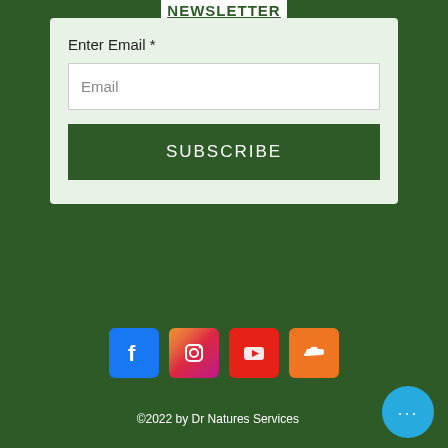NEWSLETTER
Enter Email *
Email
SUBSCRIBE
[Figure (logo): Social media icons row: Facebook (blue), Instagram (gradient pink/purple), YouTube (red), SoundCloud (orange)]
©2022 by Dr Natures Services